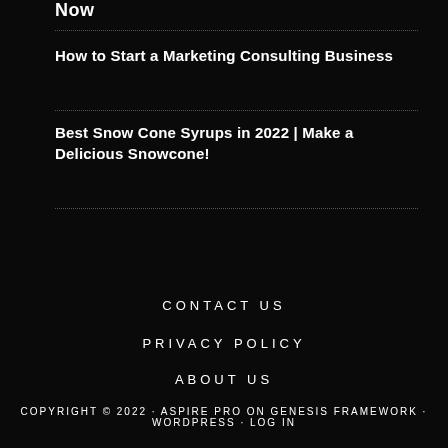Now
How to Start a Marketing Consulting Business
Best Snow Cone Syrups in 2022 | Make a Delicious Snowcone!
CONTACT US
PRIVACY POLICY
ABOUT US
COPYRIGHT © 2022 · ASPIRE PRO ON GENESIS FRAMEWORK · WORDPRESS · LOG IN